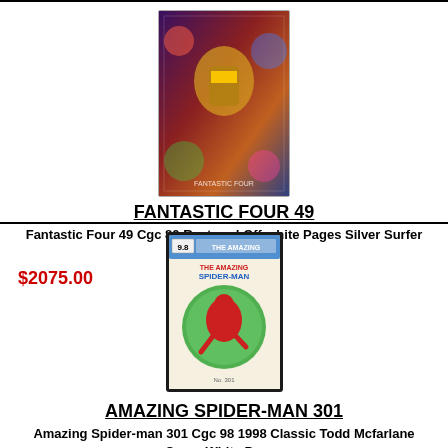[Figure (photo): CGC graded comic book Fantastic Four 49 in protective case]
FANTASTIC FOUR 49
Fantastic Four 49 Cgc 80 Restored Off-white Pages Silver Surfer Appearance
$2075.00
[Figure (photo): CGC graded Amazing Spider-Man 301 comic book, grade 9.8, in protective case with classic Todd McFarlane cover]
AMAZING SPIDER-MAN 301
Amazing Spider-man 301 Cgc 98 1998 Classic Todd Mcfarlane Cover White Pages